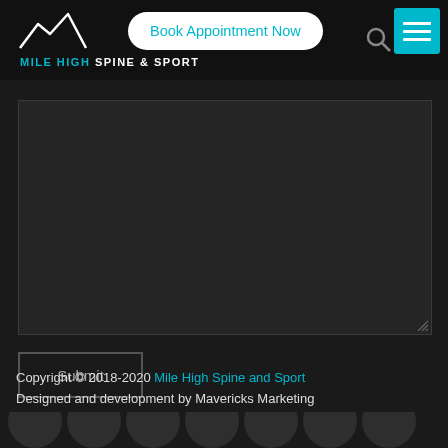[Figure (logo): Mile High Spine & Sport logo with mountain icon and text]
Book Appointment Now
[Figure (illustration): Textarea / message input box (dark background, empty)]
Submit
Copyright © 2018-2020 Mile High Spine and Sport
Designed and development by Mavericks Marketing